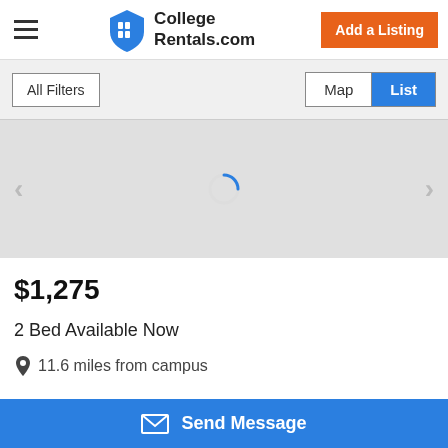College Rentals.com
All Filters
Map | List
[Figure (photo): Loading spinner on gray background with left and right carousel navigation arrows]
$1,275
2 Bed Available Now
11.6 miles from campus
Send Message